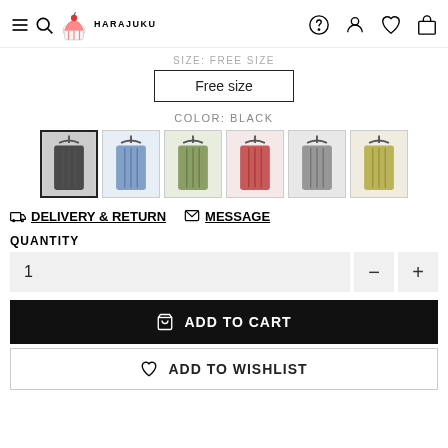HARAJUKU
SIZE: FREE SIZE
Free size
COLOR: BLACK
[Figure (photo): Six color variants of a knit crop tank top on hangers: black (selected), blue, olive green, red, gray, and yellow-green]
DELIVERY & RETURN   MESSAGE
QUANTITY
1
ADD TO CART
ADD TO WISHLIST